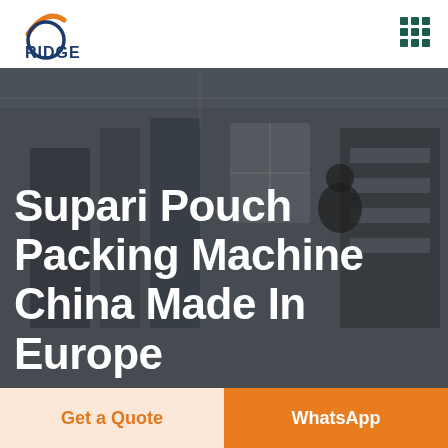[Figure (logo): RIDGE company logo with orange arc/swoosh above a circle, blue text RIDGE below]
[Figure (other): 3x3 grid of dark teal/green square dots forming a menu icon]
[Figure (photo): Dark factory/warehouse background photo with industrial machinery and a worker]
Supari Pouch Packing Machine China Made In Europe
Get a Quote
WhatsApp